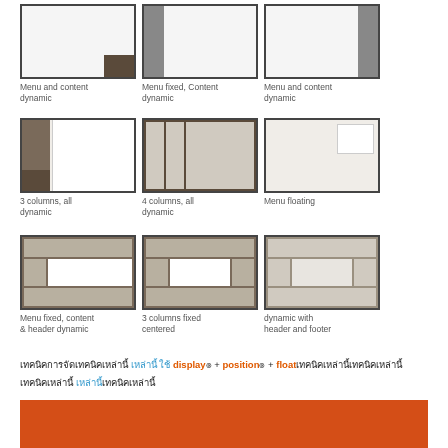[Figure (illustration): Layout diagram: Menu and content dynamic - box with dark corner]
Menu and content dynamic
[Figure (illustration): Layout diagram: Menu fixed, Content dynamic - box with left bar]
Menu fixed, Content dynamic
[Figure (illustration): Layout diagram: Menu and content dynamic - box with right bar]
Menu and content dynamic
[Figure (illustration): Layout diagram: 3 columns, all dynamic]
3 columns, all dynamic
[Figure (illustration): Layout diagram: 4 columns, all dynamic]
4 columns, all dynamic
[Figure (illustration): Layout diagram: Menu floating]
Menu floating
[Figure (illustration): Layout diagram: Menu fixed, content & header dynamic]
Menu fixed, content & header dynamic
[Figure (illustration): Layout diagram: 3 columns fixed centered]
3 columns fixed centered
[Figure (illustration): Layout diagram: dynamic with header and footer]
dynamic with header and footer
เทคนิคการจัด เหล่านี้ใช้ display๏ + position๏ + floatเทคนิคเหล่านี้ เทคนิคการจัด เหล่านี้เทคนิคเหล่านี้